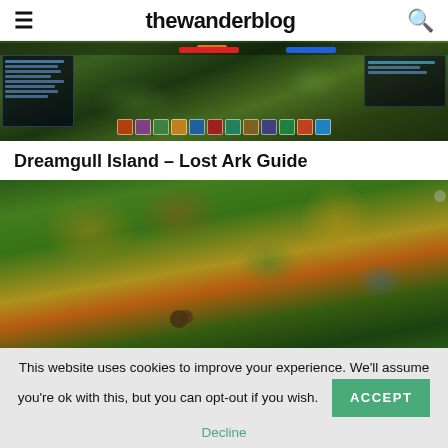thewanderblog
[Figure (screenshot): Top-down view of Lost Ark gameplay screenshot showing a character in a forest environment with HUD elements including health bar, skill bar icons, and side panels with game information]
Dreamgull Island – Lost Ark Guide
[Figure (screenshot): Lost Ark gameplay screenshot showing Dreamgull Island with colorful autumn trees (yellow, orange, red foliage) and green grass in a top-down perspective]
This website uses cookies to improve your experience. We'll assume you're ok with this, but you can opt-out if you wish. ACCEPT Decline